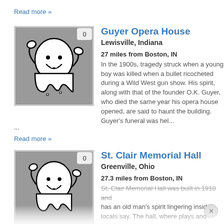Read more »
[Figure (illustration): Ghost cartoon illustration with badge showing '0' on gray background thumbnail]
Guyer Opera House
Lewisville, Indiana
27 miles from Boston, IN
In the 1900s, tragedy struck when a young boy was killed when a bullet ricocheted during a Wild West gun show. His spirit, along with that of the founder O.K. Guyer, who died the same year his opera house opened, are said to haunt the building. Guyer's funeral was hel...
...
Read more »
[Figure (illustration): Ghost cartoon illustration with badge showing '0' on gray background thumbnail, partially cut off at bottom with reflection effect]
St. Clair Memorial Hall
Greenville, Ohio
27.3 miles from Boston, IN
St. Clair Memorial Hall was built in 1910 and has an old man's spirit lingering inside, locals say. The hall, where plays and musicals are